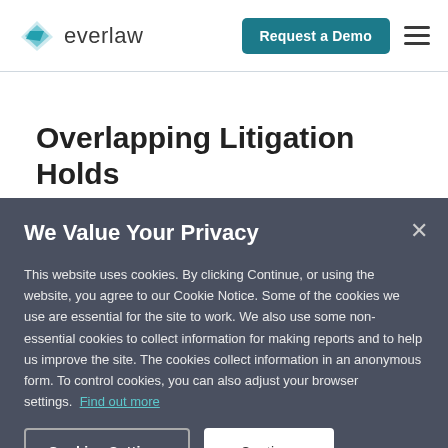everlaw — Request a Demo
Overlapping Litigation Holds
It's common for legal teams to have
We Value Your Privacy
This website uses cookies. By clicking Continue, or using the website, you agree to our Cookie Notice. Some of the cookies we use are essential for the site to work. We also use some non-essential cookies to collect information for making reports and to help us improve the site. The cookies collect information in an anonymous form. To control cookies, you can also adjust your browser settings.  Find out more
Cookies Settings
Continue